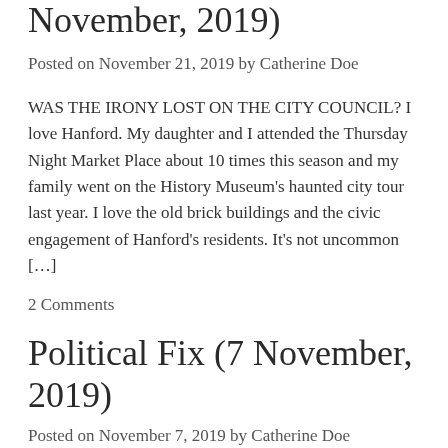November, 2019)
Posted on November 21, 2019 by Catherine Doe
WAS THE IRONY LOST ON THE CITY COUNCIL? I love Hanford. My daughter and I attended the Thursday Night Market Place about 10 times this season and my family went on the History Museum's haunted city tour last year. I love the old brick buildings and the civic engagement of Hanford's residents. It's not uncommon […]
2 Comments
Political Fix (7 November, 2019)
Posted on November 7, 2019 by Catherine Doe